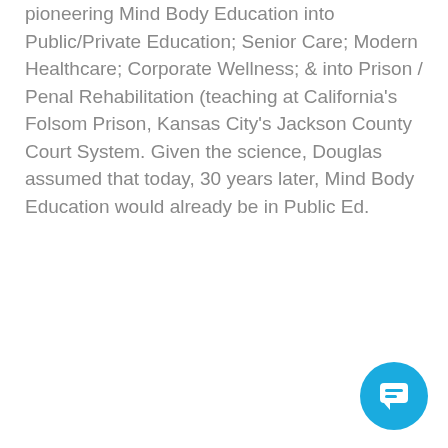pioneering Mind Body Education into Public/Private Education; Senior Care; Modern Healthcare; Corporate Wellness; & into Prison / Penal Rehabilitation (teaching at California's Folsom Prison, Kansas City's Jackson County Court System. Given the science, Douglas assumed that today, 30 years later, Mind Body Education would already be in Public Ed.
[Figure (illustration): Blue circular chat/comment button icon in the bottom right corner]